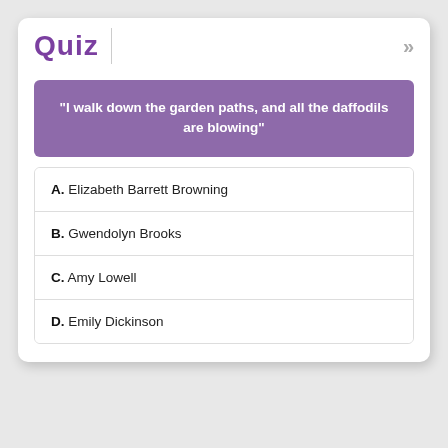Quiz
"I walk down the garden paths, and all the daffodils are blowing"
A. Elizabeth Barrett Browning
B. Gwendolyn Brooks
C. Amy Lowell
D. Emily Dickinson